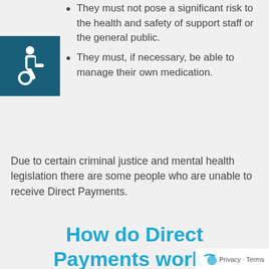[Figure (illustration): Accessibility wheelchair icon — white symbol on dark teal/blue square background]
They must not pose a significant risk to the health and safety of support staff or the general public.
They must, if necessary, be able to manage their own medication.
Due to certain criminal justice and mental health legislation there are some people who are unable to receive Direct Payments.
How do Direct Payments work?
Direct payments must go into a separate bank account to the one the recipient uses for their day-to-day banking; this is because the money paid out whilst allocated in order to